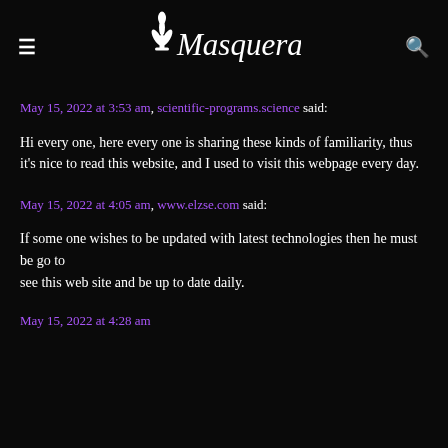≡ Masquerade 🔍
May 15, 2022 at 3:53 am, scientific-programs.science said:
Hi every one, here every one is sharing these kinds of familiarity, thus it's nice to read this website, and I used to visit this webpage every day.
May 15, 2022 at 4:05 am, www.elzse.com said:
If some one wishes to be updated with latest technologies then he must be go to see this web site and be up to date daily.
May 15, 2022 at 4:28 am